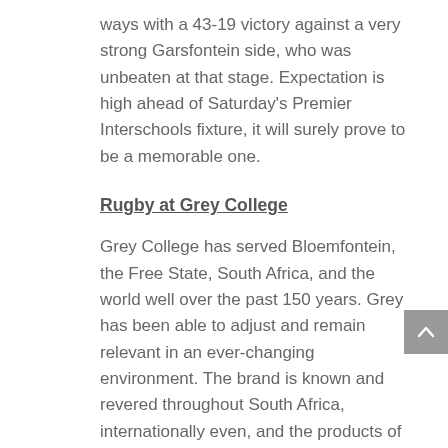ways with a 43-19 victory against a very strong Garsfontein side, who was unbeaten at that stage. Expectation is high ahead of Saturday's Premier Interschools fixture, it will surely prove to be a memorable one.
Rugby at Grey College
Grey College has served Bloemfontein, the Free State, South Africa, and the world well over the past 150 years. Grey has been able to adjust and remain relevant in an ever-changing environment. The brand is known and revered throughout South Africa, internationally even, and the products of the school make a positive difference wherever they are. Parallel medium education, tolerance, respect for others and loyalty to the school are not only traditions, but firm foundations in a global village. Grey is structured on these foundations, and it is constantly adapting to new developments. The wave of change washing over our country confirms the value of Grey's traditions.